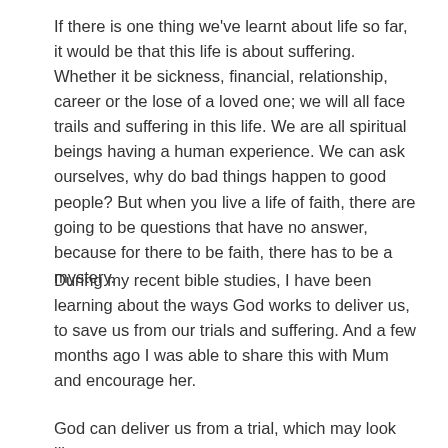If there is one thing we've learnt about life so far, it would be that this life is about suffering. Whether it be sickness, financial, relationship, career or the lose of a loved one; we will all face trails and suffering in this life. We are all spiritual beings having a human experience. We can ask ourselves, why do bad things happen to good people? But when you live a life of faith, there are going to be questions that have no answer, because for there to be faith, there has to be a mystery.
During my recent bible studies, I have been learning about the ways God works to deliver us, to save us from our trials and suffering. And a few months ago I was able to share this with Mum and encourage her.
God can deliver us from a trial, which may look like